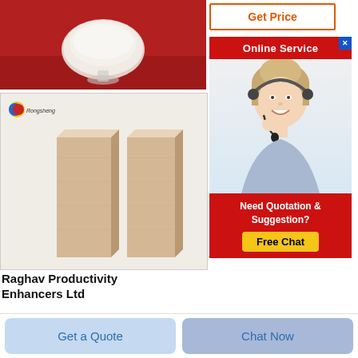[Figure (photo): Product photo showing white powder in a glass bowl on a red background]
[Figure (photo): Two firebrick/refractory brick columns standing upright with Rongsheng brand logo in top left corner]
Raghav Productivity Enhancers Ltd
[Figure (screenshot): Get Price button with orange border and text]
[Figure (screenshot): Online Service banner and chat widget showing agent photo, 'Need Quotation & Suggestion?' text, and Free Chat button]
Get a Quote
Chat Now